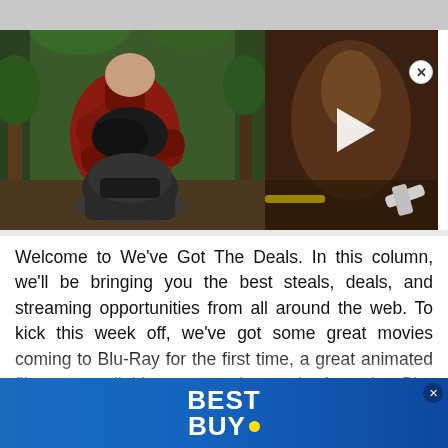[Figure (photo): A motorcyclist in a red jacket and black gloves leans over a motorcycle helmet in a wooded outdoor setting. On the right side is a video thumbnail panel with a white play button triangle overlay.]
Welcome to We've Got The Deals. In this column, we'll be bringing you the best steals, deals, and streaming opportunities from all around the web. To kick this week off, we've got some great movies coming to Blu-Ray for the first time, a great animated film now available on streaming, and a few other Blu-Ray that you w...
[Figure (logo): Best Buy advertisement banner with blue gradient background and white BEST BUY. logo with yellow dot.]